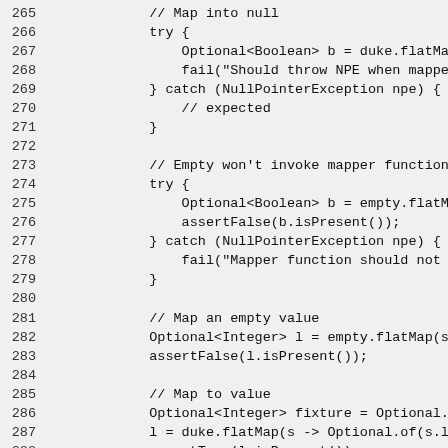265    // Map into null
266    try {
267        Optional<Boolean> b = duke.flatMap(s ->
268        fail("Should throw NPE when mapper retu
269    } catch (NullPointerException npe) {
270        // expected
271    }
272
273    // Empty won't invoke mapper function
274    try {
275        Optional<Boolean> b = empty.flatMap(s -
276        assertFalse(b.isPresent());
277    } catch (NullPointerException npe) {
278        fail("Mapper function should not be invo
279    }
280
281    // Map an empty value
282    Optional<Integer> l = empty.flatMap(s -> Opt
283    assertFalse(l.isPresent());
284
285    // Map to value
286    Optional<Integer> fixture = Optional.of(Inte
287    l = duke.flatMap(s -> Optional.of(s.length(
288    assertTrue(l.isPresent());
289    assertEquals(l.get().intValue(), 4);
290
291    // Verify same instance
292    l = duke.flatMap(s -> fixture);
293    assertSame(l, fixture);
294    }